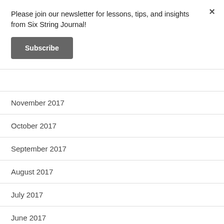Please join our newsletter for lessons, tips, and insights from Six String Journal!
Subscribe
November 2017
October 2017
September 2017
August 2017
July 2017
June 2017
May 2017
April 2017